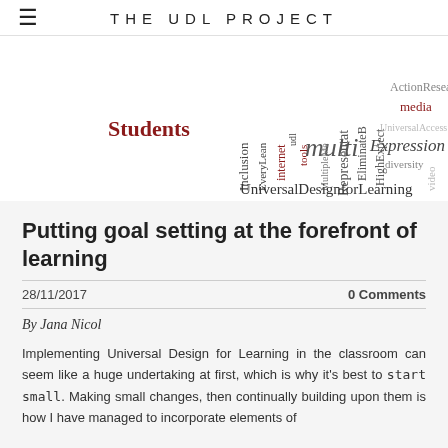THE UDL PROJECT
[Figure (infographic): Word cloud related to Universal Design for Learning (UDL). Words include: Students, Inclusion, EveryLearner, internet, tools, udl, MultipleMe, multi, Representation, EliminateB, HighExpect, ActionResearch, media, UniversalAccess, Expression, diversity, video, UniversalDesignforLearning. Words appear in varying sizes and orientations, in dark red/crimson and gray tones.]
Putting goal setting at the forefront of learning
28/11/2017
0 Comments
By Jana Nicol
Implementing Universal Design for Learning in the classroom can seem like a huge undertaking at first, which is why it's best to start small. Making small changes, then continually building upon them is how I have managed to incorporate elements of